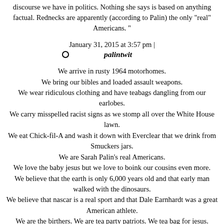discourse we have in politics. Nothing she says is based on anything factual. Rednecks are apparently (according to Palin) the only "real" Americans. "
January 31, 2015 at 3:57 pm | palintwit
We arrive in rusty 1964 motorhomes. We bring our bibles and loaded assault weapons. We wear ridiculous clothing and have teabags dangling from our earlobes. We carry misspelled racist signs as we stomp all over the White House lawn. We eat Chick-fil-A and wash it down with Everclear that we drink from Smuckers jars. We are Sarah Palin's real Americans. We love the baby jesus but we love to boink our cousins even more. We believe that the earth is only 6,000 years old and that early man walked with the dinosaurs. We believe that nascar is a real sport and that Dale Earnhardt was a great American athlete. We are the birthers. We are tea party patriots. We tea bag for jesus. We are bigots and inbreds. We are morons and we are